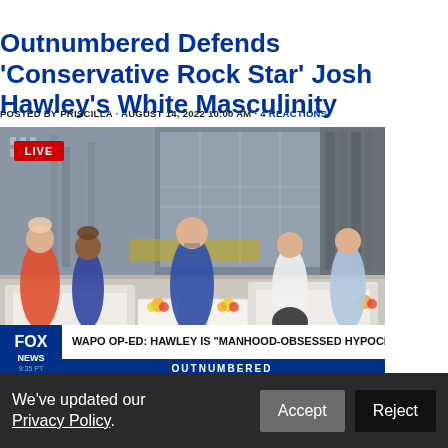Outnumbered Defends 'Conservative Rock Star' Josh Hawley's White Masculinity
POSTED BY PRISCILLA · AUGUST 14, 2022 10:00 AM · 4 REACTIONS
[Figure (screenshot): Screenshot of Fox News Outnumbered TV show with five panelists seated on white couches. Lower third banner reads: WAPO OP-ED: HAWLEY IS 'MANHOOD-OBSESSED HYPOCRITE' with OUTNUMBERED banner below. LIVE badge visible top left.]
We've updated our Privacy Policy.